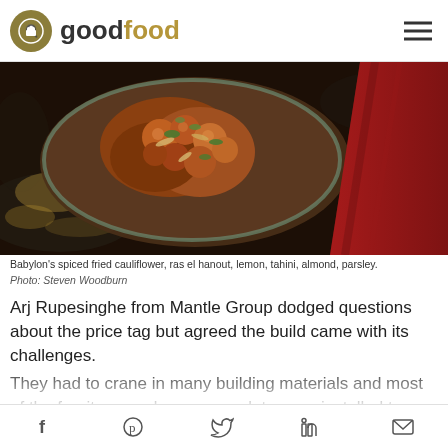goodfood
[Figure (photo): A bowl of Babylon's spiced fried cauliflower with ras el hanout, lemon, tahini, almond, and parsley. Dark moody food photography with a red cloth in corner.]
Babylon's spiced fried cauliflower, ras el hanout, lemon, tahini, almond, parsley.
Photo: Steven Woodburn
Arj Rupesinghe from Mantle Group dodged questions about the price tag but agreed the build came with its challenges.
They had to crane in many building materials and most of the furniture, and a new escalator was installed to ferry customers faster from street level.
Licensed for 1400, with two restaurants and bars, it's one of the boldest hospitality plays in Sydney this
f  p  twitter  in  mail